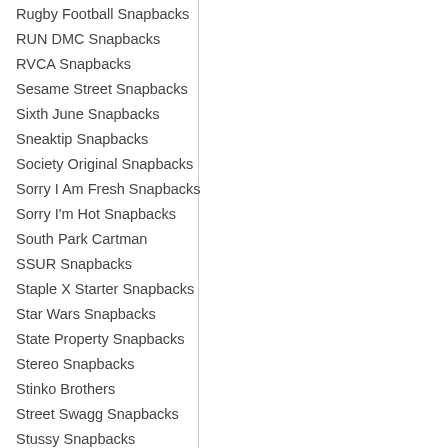Rugby Football Snapbacks
RUN DMC Snapbacks
RVCA Snapbacks
Sesame Street Snapbacks
Sixth June Snapbacks
Sneaktip Snapbacks
Society Original Snapbacks
Sorry I Am Fresh Snapbacks
Sorry I'm Hot Snapbacks
South Park Cartman
SSUR Snapbacks
Staple X Starter Snapbacks
Star Wars Snapbacks
State Property Snapbacks
Stereo Snapbacks
Stinko Brothers
Street Swagg Snapbacks
Stussy Snapbacks
Supermebeing Snapbacks
Superstar Snapbacks
Taylor Gang Snapbacks